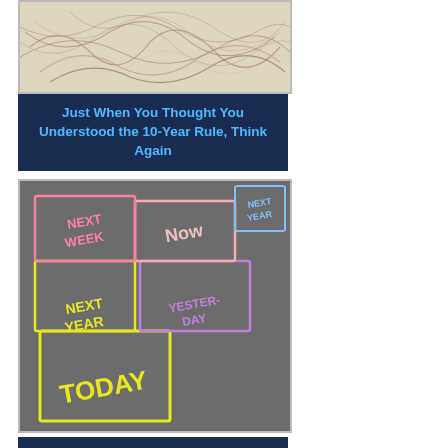[Figure (photo): Close-up photo of tangled natural fibers or dried grass on white background]
Just When You Thought You Understood the 10-Year Rule, Think Again
[Figure (photo): Overhead photo of hopscotch grid drawn in chalk on pavement with words TODAY, YESTERDAY, NOW, NEXT WEEK, NEXT YEAR written in the squares]
[Figure (photo): Partial view of dark navy blue banner at bottom, cropped]